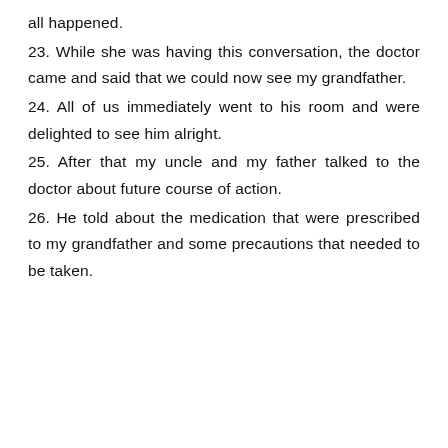all happened.
23. While she was having this conversation, the doctor came and said that we could now see my grandfather.
24. All of us immediately went to his room and were delighted to see him alright.
25. After that my uncle and my father talked to the doctor about future course of action.
26. He told about the medication that were prescribed to my grandfather and some precautions that needed to be taken.